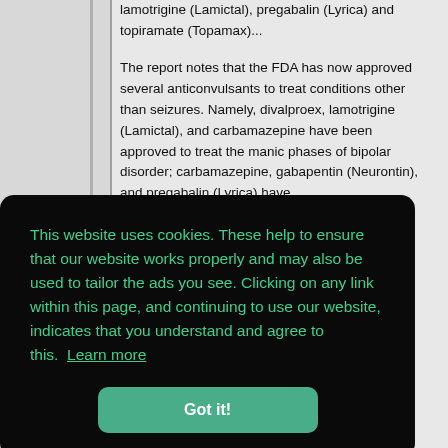lamotrigine (Lamictal), pregabalin (Lyrica) and topiramate (Topamax)...
The report notes that the FDA has now approved several anticonvulsants to treat conditions other than seizures. Namely, divalproex, lamotrigine (Lamictal), and carbamazepine have been approved to treat the manic phases of bipolar disorder; carbamazepine, gabapentin (Neurontin), and pregabalin (Lyrica) have
This website uses cookies. These help to ensure that our website works properly and may also be used to tailor the ads you see. Clicking on any link within this page, and continuing to use our website, indicates that you understand and agree to this. Learn more
Got it!
Thanks RD. When my doctor comes back